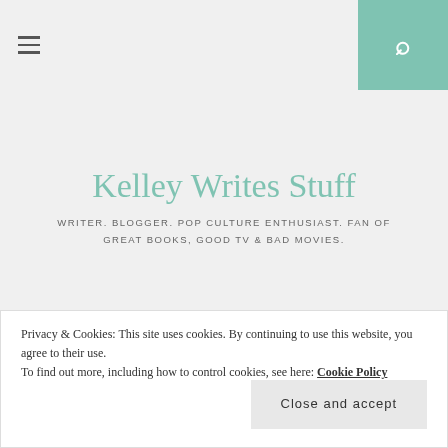Kelley Writes Stuff — Writer. Blogger. Pop Culture Enthusiast. Fan of Great Books, Good TV & Bad Movies.
THIS & THAT
Podcasts I Love: Serial
Privacy & Cookies: This site uses cookies. By continuing to use this website, you agree to their use. To find out more, including how to control cookies, see here: Cookie Policy
Close and accept
[Figure (photo): Serial Podcast NPR Sarah Keonig Adnan image placeholder]